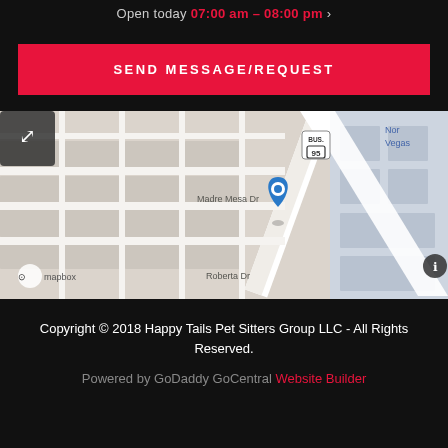Open today 07:00 am – 08:00 pm
SEND MESSAGE/REQUEST
[Figure (map): Mapbox map showing location near Madre Mesa Dr and Roberta Dr in North Las Vegas, Nevada, with a blue location pin marker and BUS. 95 route shield visible]
Copyright © 2018 Happy Tails Pet Sitters Group LLC - All Rights Reserved.
Powered by GoDaddy GoCentral Website Builder